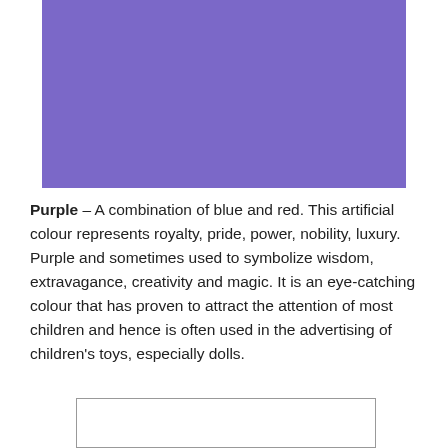[Figure (illustration): A solid purple/violet colored rectangle filling the top portion of the page]
Purple – A combination of blue and red. This artificial colour represents royalty, pride, power, nobility, luxury. Purple and sometimes used to symbolize wisdom, extravagance, creativity and magic. It is an eye-catching colour that has proven to attract the attention of most children and hence is often used in the advertising of children's toys, especially dolls.
[Figure (illustration): A white rectangle with a thin border visible at the bottom of the page]